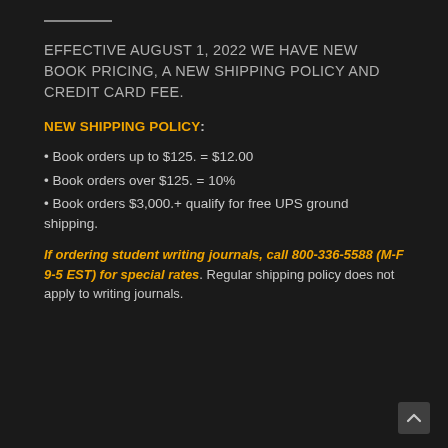EFFECTIVE AUGUST 1, 2022 WE HAVE NEW BOOK PRICING, A NEW SHIPPING POLICY AND CREDIT CARD FEE.
NEW SHIPPING POLICY:
• Book orders up to $125. = $12.00
• Book orders over $125. = 10%
• Book orders $3,000.+ qualify for free UPS ground shipping.
If ordering student writing journals, call 800-336-5588 (M-F 9-5 EST) for special rates. Regular shipping policy does not apply to writing journals.